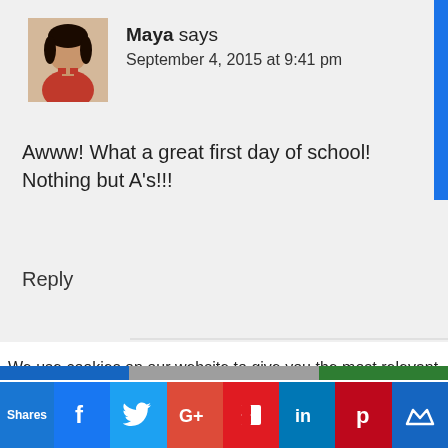[Figure (photo): Avatar photo of Maya, a woman wearing a red outfit]
Maya says
September 4, 2015 at 9:41 pm
Awww! What a great first day of school!
Nothing but A's!!!
Reply
We use cookies on our website to give you the most relevant experience by remembering your preferences and repeat visits. By clicking "Accept All", you consent to the use of ALL the cookies. However, you may visit "Cookie Settings" to provide a controlled consent.
Shares